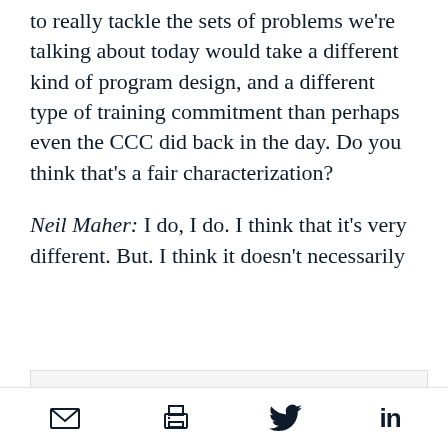to really tackle the sets of problems we're talking about today would take a different kind of program design, and a different type of training commitment than perhaps even the CCC did back in the day. Do you think that's a fair characterization?
Neil Maher: I do, I do. I think that it's very different. But. I think it doesn't necessarily
We use cookies to provide you with a better service. Carry on browsing if you're happy with this, or find out more.